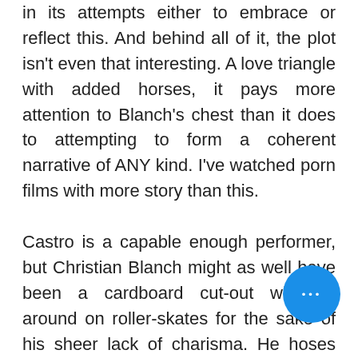in its attempts either to embrace or reflect this. And behind all of it, the plot isn't even that interesting. A love triangle with added horses, it pays more attention to Blanch's chest than it does to attempting to form a coherent narrative of ANY kind. I've watched porn films with more story than this.

Castro is a capable enough performer, but Christian Blanch might as well have been a cardboard cut-out wheeled around on roller-skates for the sake of his sheer lack of charisma. He hoses himself down like an obedient go-go boy every few minutes, but there's as much substance to his character as there is in a bag of candyfloss. But with the amount that everyone in front and behind the
[Figure (other): Blue circular button with three white dots (ellipsis/more options button) in the bottom right corner of the page]